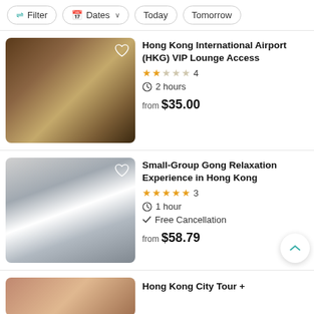Filter | Dates | Today | Tomorrow
Hong Kong International Airport (HKG) VIP Lounge Access
★★☆☆☆ 4
🕐 2 hours
from $35.00
Small-Group Gong Relaxation Experience in Hong Kong
★★★★★ 3
🕐 1 hour
✓ Free Cancellation
from $58.79
Hong Kong City Tour +